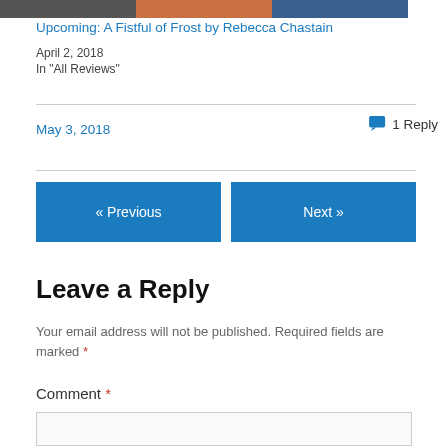[Figure (photo): Three small book cover images at top of page]
Upcoming: A Fistful of Frost by Rebecca Chastain
April 2, 2018
In "All Reviews"
May 3, 2018
1 Reply
« Previous
Next »
Leave a Reply
Your email address will not be published. Required fields are marked *
Comment *